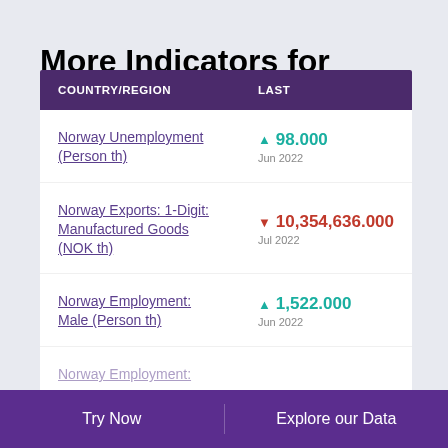More Indicators for Norway
| COUNTRY/REGION | LAST |
| --- | --- |
| Norway Unemployment (Person th) | ▲ 98.000 Jun 2022 |
| Norway Exports: 1-Digit: Manufactured Goods (NOK th) | ▼ 10,354,636.000 Jul 2022 |
| Norway Employment: Male (Person th) | ▲ 1,522.000 Jun 2022 |
| Norway Employment: |  |
Try Now    Explore our Data